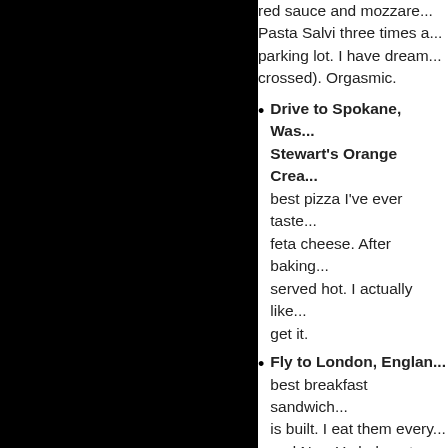red sauce and mozzare... Pasta Salvi three times a... parking lot. I have dream... crossed). Orgasmic.
Drive to Spokane, Was... Stewart's Orange Crea... best pizza I've ever taste... feta cheese. After baking... served hot. I actually like... get it.
Fly to London, Englan... best breakfast sandwich... is built. I eat them every... and New York do not hav...
Fly to New York, New Y... Pick-A-Bagel has closed... perfectly chewy bagel tha...
Fly to Paris, France and... Tower "avec du sucre s... world. So much so, that... croissants on earth, drip...